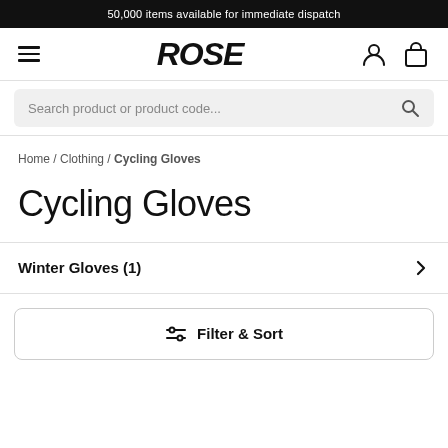50,000 items available for immediate dispatch
[Figure (logo): ROSE brand logo in bold italic black text with hamburger menu icon on left and user/cart icons on right]
Search product or product code...
Home / Clothing / Cycling Gloves
Cycling Gloves
Winter Gloves (1)
Filter & Sort